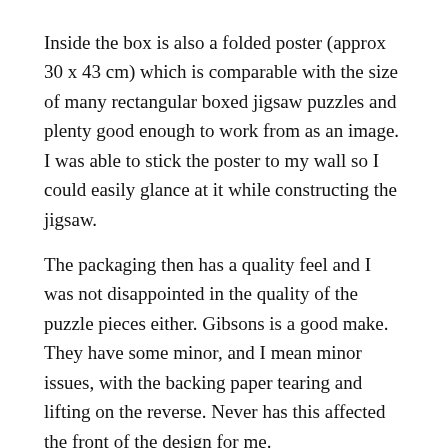Inside the box is also a folded poster (approx 30 x 43 cm) which is comparable with the size of many rectangular boxed jigsaw puzzles and plenty good enough to work from as an image. I was able to stick the poster to my wall so I could easily glance at it while constructing the jigsaw.
The packaging then has a quality feel and I was not disappointed in the quality of the puzzle pieces either. Gibsons is a good make. They have some minor, and I mean minor issues, with the backing paper tearing and lifting on the reverse. Never has this affected the front of the design for me.